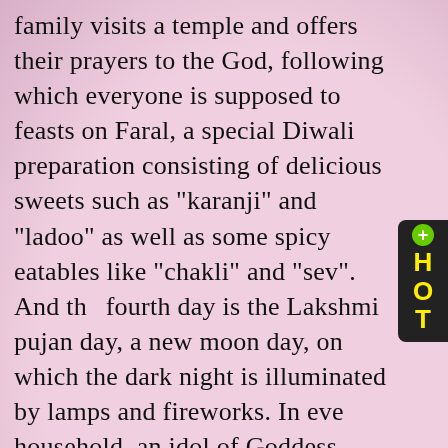family visits a temple and offers their prayers to the God, following which everyone is supposed to feasts on Faral, a special Diwali preparation consisting of delicious sweets such as "karanji" and "ladoo" as well as some spicy eatables like "chakli" and "sev". And the fourth day is the Lakshmi pujan day, a new moon day, on which the dark night is illuminated by lamps and fireworks. In every household, an idol of Goddess Lakshmi and items of wealth like currency and jewellery are worshipped. Friends, neighbours and relatives are invited over and celebrations are in full swing.